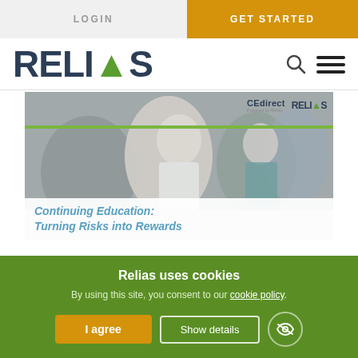LOGIN | GET STARTED
RELIAS
[Figure (screenshot): Screenshot of Relias/CEdirect continuing education promotional image showing medical professionals in a classroom setting, with text 'Continuing Education: Turning Risks into Rewards']
Continuing Education: Turning Risks into Rewards
Relias uses cookies
By using this site, you consent to our cookie policy.
I agree
Show details